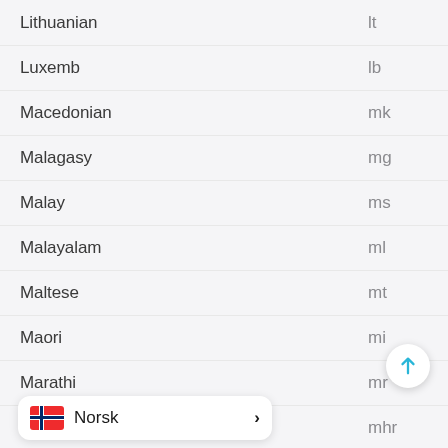Lithuanian	lt
Luxemb	lb
Macedonian	mk
Malagasy	mg
Malay	ms
Malayalam	ml
Maltese	mt
Maori	mi
Marathi	mr
mhr
[Figure (other): Scroll-to-top button with cyan upward arrow]
[Figure (other): Norwegian flag icon with Norsk label and chevron, language selector bar]